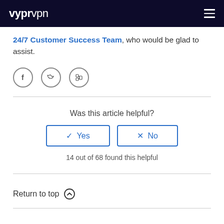vyprvpn
24/7 Customer Success Team, who would be glad to assist.
[Figure (other): Social media share icons: Facebook, Twitter, LinkedIn]
Was this article helpful?
[Figure (other): Yes and No buttons for article feedback]
14 out of 68 found this helpful
Return to top